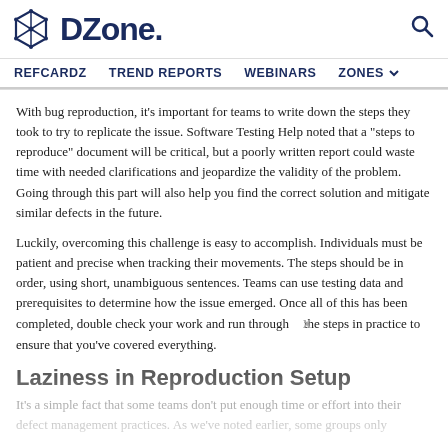DZone | REFCARDZ  TREND REPORTS  WEBINARS  ZONES
With bug reproduction, it's important for teams to write down the steps they took to try to replicate the issue. Software Testing Help noted that a "steps to reproduce" document will be critical, but a poorly written report could waste time with needed clarifications and jeopardize the validity of the problem. Going through this part will also help you find the correct solution and mitigate similar defects in the future.
Luckily, overcoming this challenge is easy to accomplish. Individuals must be patient and precise when tracking their movements. The steps should be in order, using short, unambiguous sentences. Teams can use testing data and prerequisites to determine how the issue emerged. Once all of this has been completed, double check your work and run through the steps in practice to ensure that you've covered everything.
Laziness in Reproduction Setup
It's a simple fact that some teams don't put enough time or effort into their defect management practices. As we've noted earlier, some groups only